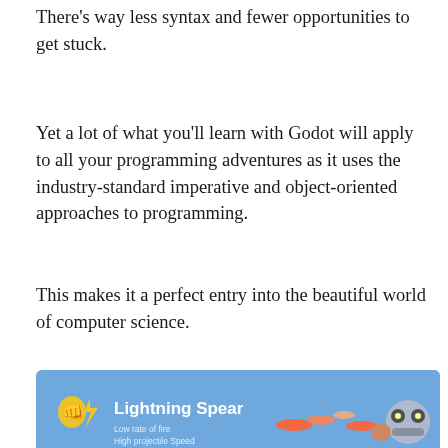There's way less syntax and fewer opportunities to get stuck.
Yet a lot of what you'll learn with Godot will apply to all your programming adventures as it uses the industry-standard imperative and object-oriented approaches to programming.
This makes it a perfect entry into the beautiful world of computer science.
[Figure (illustration): Game screenshot showing two weapon types: Lightning Spear (low rate of fire, high projectile speed, high damage, sniper like) and Fire burst (high rate of fire, low damage, machine gun like), with cartoon panda characters and projectile animations on a blue background.]